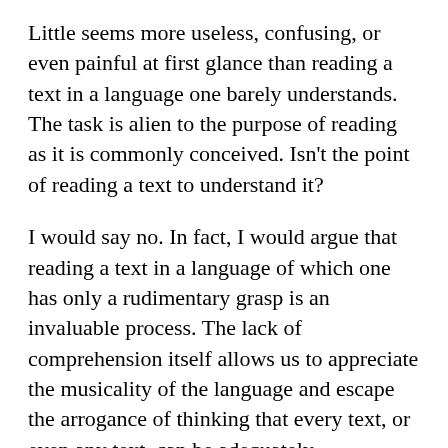Little seems more useless, confusing, or even painful at first glance than reading a text in a language one barely understands. The task is alien to the purpose of reading as it is commonly conceived. Isn't the point of reading a text to understand it?
I would say no. In fact, I would argue that reading a text in a language of which one has only a rudimentary grasp is an invaluable process. The lack of comprehension itself allows us to appreciate the musicality of the language and escape the arrogance of thinking that every text, or even any text, can be adequately understood. This restores a beautiful strangeness to the written word. Like Odradek, that which we do not understand will outlive us, but this shouldn't be a painful thought